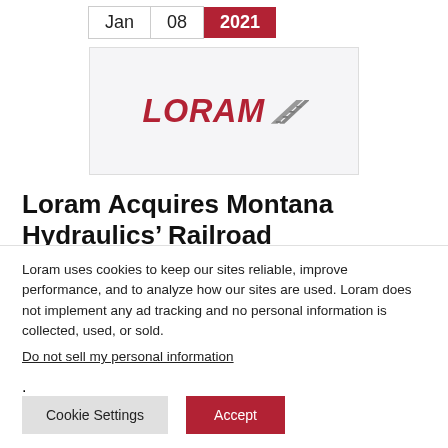Jan  08  2021
[Figure (logo): Loram logo: red italic text 'LORAM' with stylized rail/track graphic to the right]
Loram Acquires Montana Hydraulics' Railroad
Loram uses cookies to keep our sites reliable, improve performance, and to analyze how our sites are used. Loram does not implement any ad tracking and no personal information is collected, used, or sold.
Do not sell my personal information.
Cookie Settings   Accept